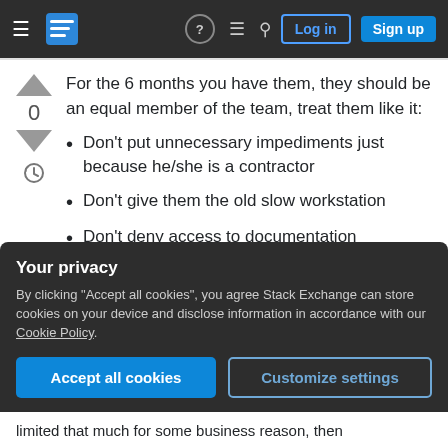Stack Exchange navigation bar with hamburger menu, logo, help, chat, search, Log in, Sign up buttons
For the 6 months you have them, they should be an equal member of the team, treat them like it:
Don't put unnecessary impediments just because he/she is a contractor
Don't give them the old slow workstation
Don't deny access to documentation
Don't make it harder for them to access development and test environments
Your privacy
By clicking "Accept all cookies", you agree Stack Exchange can store cookies on your device and disclose information in accordance with our Cookie Policy.
Accept all cookies   Customize settings
limited that much for some business reason, then